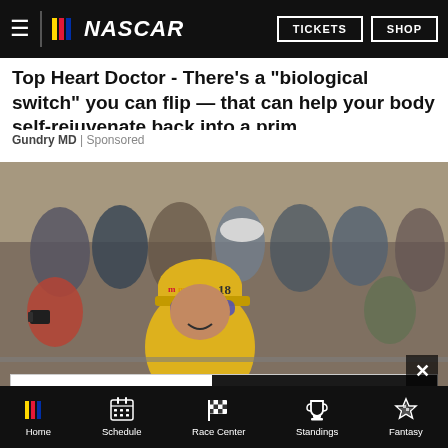NASCAR | TICKETS | SHOP
Top Heart Doctor - There’s a “biological switch” you can flip — that can help your body self-rejuvenate back into a prim…
Gundry MD | Sponsored
[Figure (photo): NASCAR driver wearing a yellow M&Ms #18 cap and sunglasses smiling at fans; crowd of spectators in the background]
[Figure (infographic): NASCAR advertisement banner: NASCAR logo with BUY TICKETS! button on left, YOU’VE GOTTA BE THERE! text on dark right side]
Home | Schedule | Race Center | Standings | Fantasy